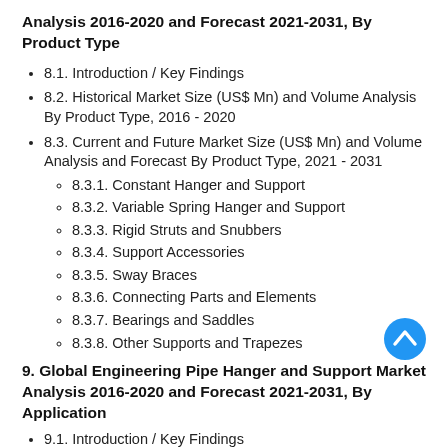Analysis 2016-2020 and Forecast 2021-2031, By Product Type
8.1. Introduction / Key Findings
8.2. Historical Market Size (US$ Mn) and Volume Analysis By Product Type, 2016 - 2020
8.3. Current and Future Market Size (US$ Mn) and Volume Analysis and Forecast By Product Type, 2021 - 2031
8.3.1. Constant Hanger and Support
8.3.2. Variable Spring Hanger and Support
8.3.3. Rigid Struts and Snubbers
8.3.4. Support Accessories
8.3.5. Sway Braces
8.3.6. Connecting Parts and Elements
8.3.7. Bearings and Saddles
8.3.8. Other Supports and Trapezes
9. Global Engineering Pipe Hanger and Support Market Analysis 2016-2020 and Forecast 2021-2031, By Application
9.1. Introduction / Key Findings